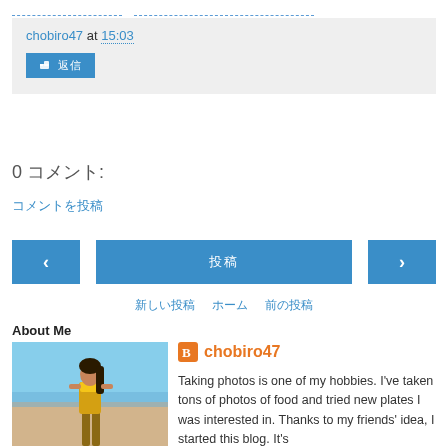chobiro47 at 15:03
[Figure (other): Reply button with icon]
0 コメント:
コメントを投稿
[Figure (other): Navigation buttons: previous (‹), 投稿 (home), next (›)]
新しい投稿 ホーム 前の投稿
About Me
[Figure (photo): Photo of woman on beach in bikini]
chobiro47
Taking photos is one of my hobbies. I've taken tons of photos of food and tried new plates I was interested in. Thanks to my friends' idea, I started this blog. It's